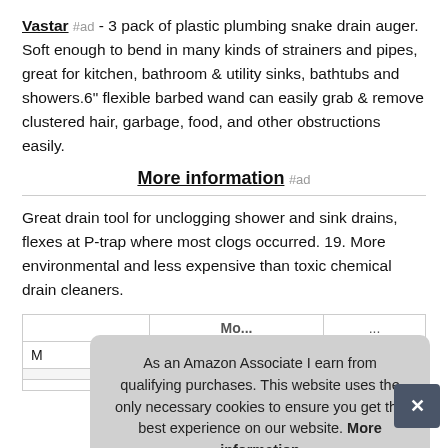Vastar #ad - 3 pack of plastic plumbing snake drain auger. Soft enough to bend in many kinds of strainers and pipes, great for kitchen, bathroom & utility sinks, bathtubs and showers.6" flexible barbed wand can easily grab & remove clustered hair, garbage, food, and other obstructions easily.
More information #ad
Great drain tool for unclogging shower and sink drains, flexes at P-trap where most clogs occurred. 19. More environmental and less expensive than toxic chemical drain cleaners.
| M... | ... |
|  |  |
As an Amazon Associate I earn from qualifying purchases. This website uses the only necessary cookies to ensure you get the best experience on our website. More information